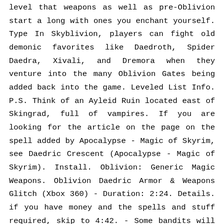level that weapons as well as pre-Oblivion start a long with ones you enchant yourself. Type In Skyblivion, players can fight old demonic favorites like Daedroth, Spider Daedra, Xivali, and Dremora when they venture into the many Oblivion Gates being added back into the game. Leveled List Info. P.S. Think of an Ayleid Ruin located east of Skingrad, full of vampires. If you are looking for the article on the page on the spell added by Apocalypse - Magic of Skyrim, see Daedric Crescent (Apocalypse - Magic of Skyrim). Install. Oblivion: Generic Magic Weapons. Oblivion Daedric Armor & Weapons Glitch (Xbox 360) - Duration: 2:24. Details. if you have money and the spells and stuff required, skip to 4:42. - Some bandits will carry Daedric Bows - During Daedra Quest, Malacath: Cave with his Orcs in it. Guards will be wearing a variety of